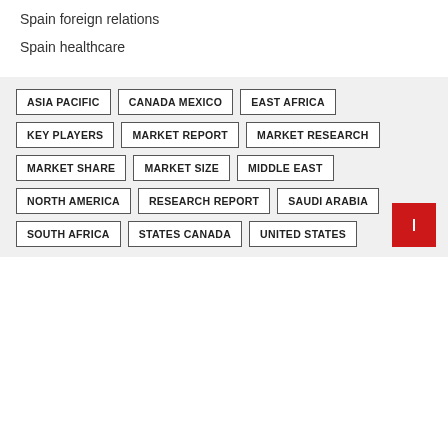Spain foreign relations
Spain healthcare
ASIA PACIFIC
CANADA MEXICO
EAST AFRICA
KEY PLAYERS
MARKET REPORT
MARKET RESEARCH
MARKET SHARE
MARKET SIZE
MIDDLE EAST
NORTH AMERICA
RESEARCH REPORT
SAUDI ARABIA
SOUTH AFRICA
STATES CANADA
UNITED STATES